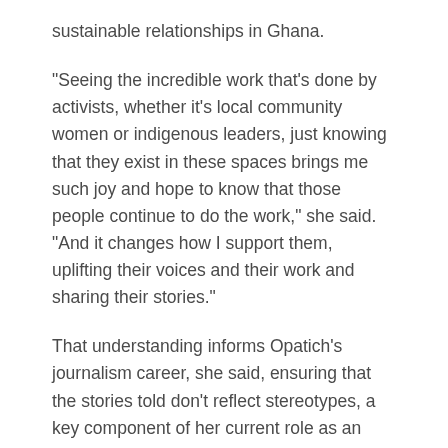sustainable relationships in Ghana.
“Seeing the incredible work that's done by activists, whether it's local community women or indigenous leaders, just knowing that they exist in these spaces brings me such joy and hope to know that those people continue to do the work,” she said. “And it changes how I support them, uplifting their voices and their work and sharing their stories.”
That understanding informs Opatich’s journalism career, she said, ensuring that the stories told don't reflect stereotypes, a key component of her current role as an associate producer on the booking team at CBS Morning News. “Anytime we’re putting someone on, whether they’re an